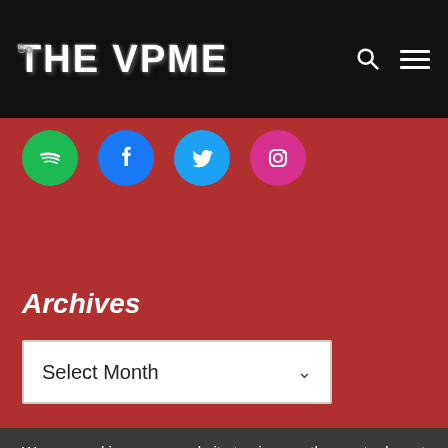THE VPME
[Figure (logo): Social media icons: Spotify (green circle), Facebook (blue circle), Twitter (blue circle), Instagram (pink circle)]
Archives
[Figure (other): Select Month dropdown]
We use cookies on our website to give you the most relevant experience by remembering your preferences and repeat visits. By clicking "Accept All", you consent to the use of ALL the cookies. However, you may visit "Cookie Settings" to provide a controlled consent.
Cookie Settings | Accept All